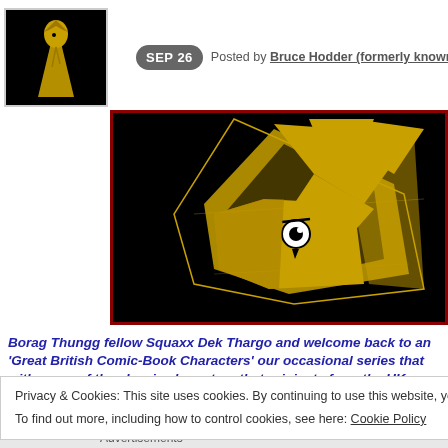[Figure (illustration): Small avatar image: yellow hooded figure on black background]
SEP 26  Posted by Bruce Hodder (formerly known...
[Figure (illustration): Large banner image: yellow stylized comic character face with lightning bolt shapes on black background with dark red border]
Borag Thungg fellow Squaxx Dek Thargo and welcome back to an... 'Great British Comic-Book Characters' our occasional series that... with some of the classic characters that originate from the UK
Privacy & Cookies: This site uses cookies. By continuing to use this website, you agree to their use.
To find out more, including how to control cookies, see here: Cookie Policy
Close and accept
Advertisements